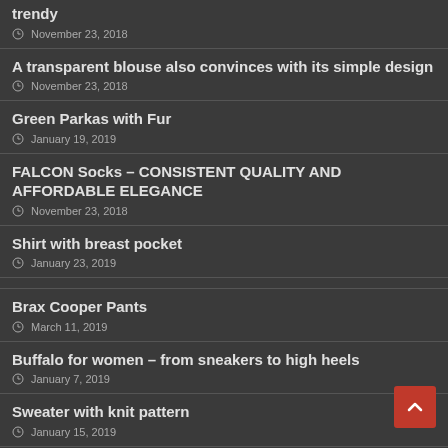trendy
November 23, 2018
A transparent blouse also convinces with its simple design
November 23, 2018
Green Parkas with Fur
January 19, 2019
FALCON Socks – CONSISTENT QUALITY AND AFFORDABLE ELEGANCE
November 23, 2018
Shirt with breast pocket
January 23, 2019
Brax Cooper Pants
March 11, 2019
Buffalo for women – from sneakers to high heels
January 7, 2019
Sweater with knit pattern
January 15, 2019